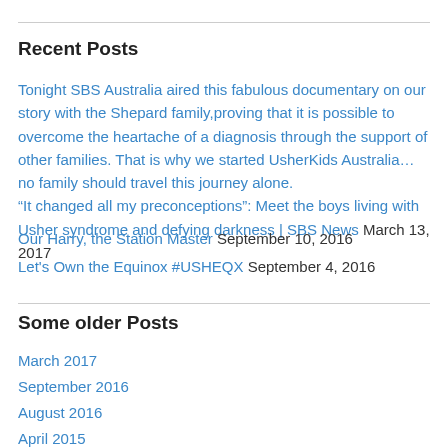Recent Posts
Tonight SBS Australia aired this fabulous documentary on our story with the Shepard family,proving that it is possible to overcome the heartache of a diagnosis through the support of other families. That is why we started UsherKids Australia…no family should travel this journey alone. “It changed all my preconceptions”: Meet the boys living with Usher syndrome and defying darkness | SBS News March 13, 2017
Our Harry, the Station Master September 10, 2016
Let's Own the Equinox #USHEQX September 4, 2016
Some older Posts
March 2017
September 2016
August 2016
April 2015